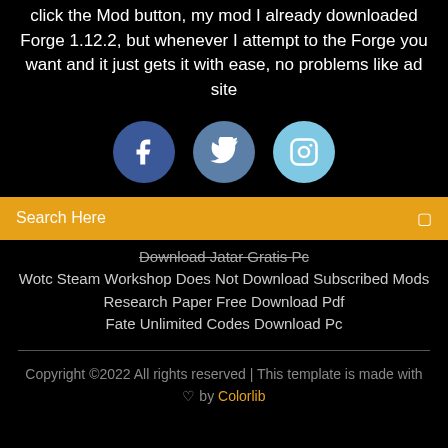click the Mod button, my mod I already downloaded Forge 1.12.2, but whenever I attempt to the Forge you want and it just gets it with ease, no problems like ad site
[Figure (infographic): Three social media icon circles: Facebook (dark blue), Twitter (medium blue), Instagram (light blue)]
Search Here
Download Jatar Gratis Pc
Wotc Steam Workshop Does Not Download Subscribed Mods
Research Paper Free Download Pdf
Fate Unlimited Codes Download Pc
Copyright ©2022 All rights reserved | This template is made with ♡ by Colorlib